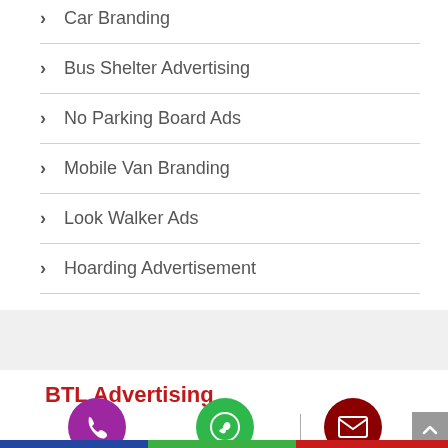Car Branding
Bus Shelter Advertising
No Parking Board Ads
Mobile Van Branding
Look Walker Ads
Hoarding Advertisement
BTL Advertising
[Figure (infographic): Three contact icons: purple phone circle, green WhatsApp circle, dark red email circle, with a vertical divider line between WhatsApp and email icons, and a scroll-to-top button in bottom right]